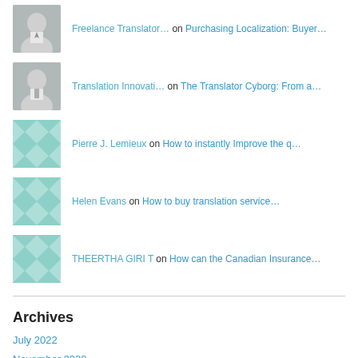Freelance Translator… on Purchasing Localization: Buyer…
Translation Innovati… on The Translator Cyborg: From a…
Pierre J. Lemieux on How to instantly Improve the q…
Helen Evans on How to buy translation service…
THEERTHA GIRI T on How can the Canadian Insurance…
Archives
July 2022
November 2020
September 2020
August 2020